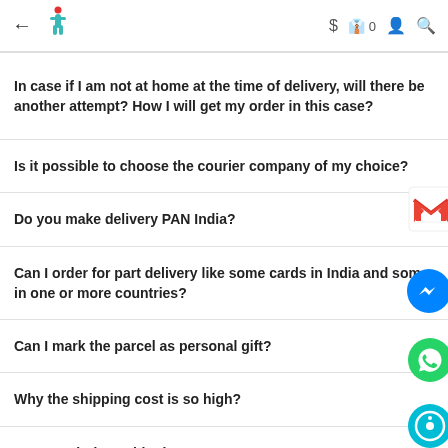← [logo] $ [bag]0 [user] [search]
In case if I am not at home at the time of delivery, will there be another attempt? How I will get my order in this case?
Is it possible to choose the courier company of my choice?
Do you make delivery PAN India?
Can I order for part delivery like some cards in India and some in one or more countries?
Can I mark the parcel as personal gift?
Why the shipping cost is so high?
How much does shipping cost?